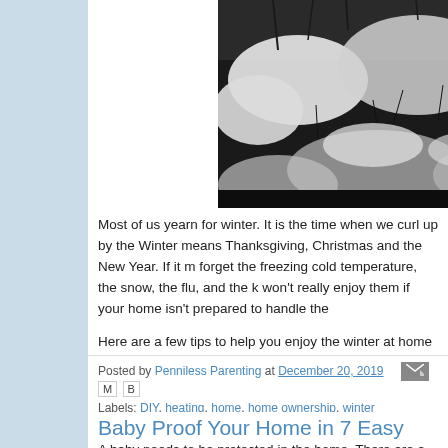[Figure (photo): Black and white winter photo showing a snow-covered garden or yard with trees and bushes heavily laden with snow]
Most of us yearn for winter. It is the time when we curl up by the Winter means Thanksgiving, Christmas and the New Year. If it m forget the freezing cold temperature, the snow, the flu, and the b won't really enjoy them if your home isn't prepared to handle the
Here are a few tips to help you enjoy the winter at home withou
Read more »
Posted by Penniless Parenting at December 20, 2019
Labels: DIY, heating, home, home ownership, winter
Baby Proof Your Home in 7 Easy Step
A baby needs to be protected in the home. There are a milli a